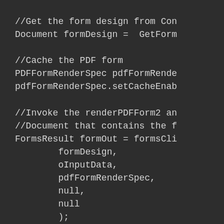[Figure (screenshot): Code snippet showing Java/programming code on dark background. Code includes comments and statements: getting form design from Content, caching the PDF form with PDFFormRenderSpec, invoking renderPDFForm2 and creating FormsResult with parameters formDesign, oInputData, pdfFormRenderSpec, null, null, and a comment about creating a Document object.]